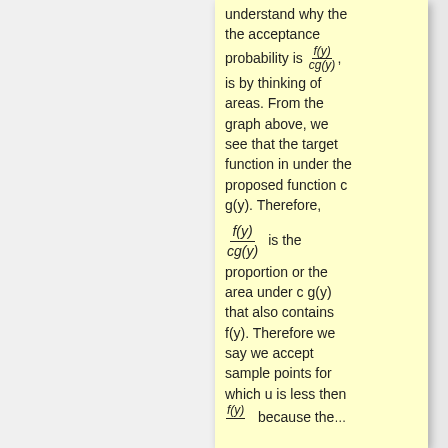understand why the the acceptance probability is f(y)/cg(y), is by thinking of areas. From the graph above, we see that the target function in under the proposed function c g(y). Therefore, f(y)/cg(y) is the proportion or the area under c g(y) that also contains f(y). Therefore we say we accept sample points for which u is less then f(y) ... because the...